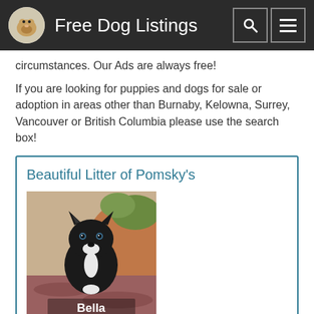Free Dog Listings
circumstances. Our Ads are always free!
If you are looking for puppies and dogs for sale or adoption in areas other than Burnaby, Kelowna, Surrey, Vancouver or British Columbia please use the search box!
Beautiful Litter of Pomsky's
[Figure (photo): Black Pomsky puppy named Bella sitting on a reddish-brown blanket with a terracotta pot in the background. The puppy label 'Bella' appears at the bottom of the image.]